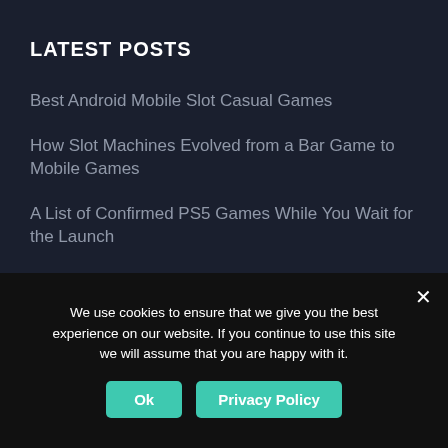LATEST POSTS
Best Android Mobile Slot Casual Games
How Slot Machines Evolved from a Bar Game to Mobile Games
A List of Confirmed PS5 Games While You Wait for the Launch
Cosmospecial Compares: PS5 vs PS5 Digital Edition
We use cookies to ensure that we give you the best experience on our website. If you continue to use this site we will assume that you are happy with it.
Ok
Privacy Policy